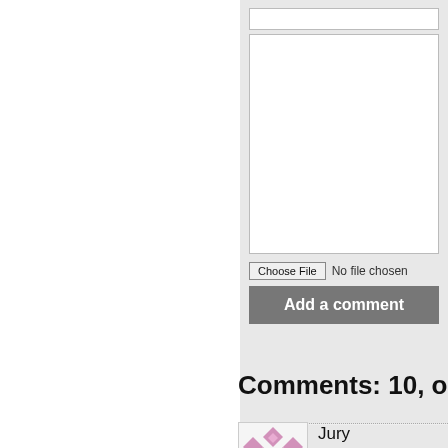[Figure (screenshot): Web form section showing text input field, textarea, choose file button with 'No file chosen' label, and an 'Add a comment' button on a light gray background]
Comments: 10, on th
[Figure (illustration): User avatar with pink/mauve geometric diamond quilt pattern]
Jury
28.09.2021 in 17: 12 Re
Have they already been